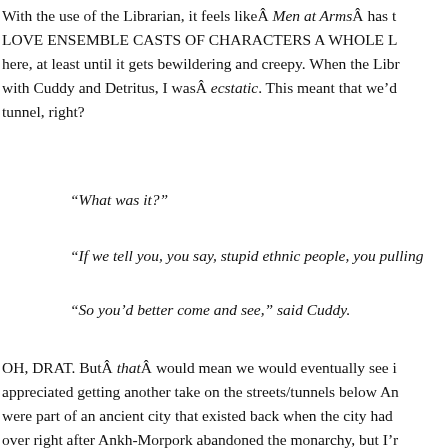With the use of the Librarian, it feels likeÂ Men at ArmsÂ has t LOVE ENSEMBLE CASTS OF CHARACTERS A WHOLE L here, at least until it gets bewildering and creepy. When the Libr with Cuddy and Detritus, I wasÂ ecstatic. This meant that we’d tunnel, right?
“What was it?”
“If we tell you, you say, stupid ethnic people, you pulling
“So you’d better come and see,” said Cuddy.
OH, DRAT. ButÂ thatÂ would mean we would eventually see i appreciated getting another take on the streets/tunnels below An were part of an ancient city that existed back when the city had over right after Ankh-Morpork abandoned the monarchy, but I’r sense that Edward would use the physical remains of that specif city. It’s almostÂ tooÂ good. But my familiarity with all this plu revealed what Cuddy and Detritus found: